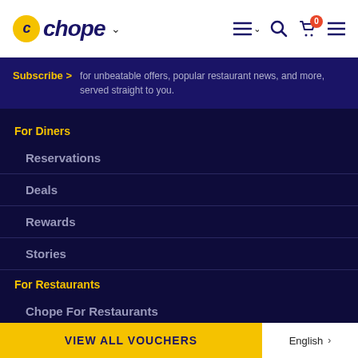Chope
Subscribe > for unbeatable offers, popular restaurant news, and more, served straight to you.
For Diners
Reservations
Deals
Rewards
Stories
For Restaurants
Chope For Restaurants
More
About
VIEW ALL VOUCHERS
English >